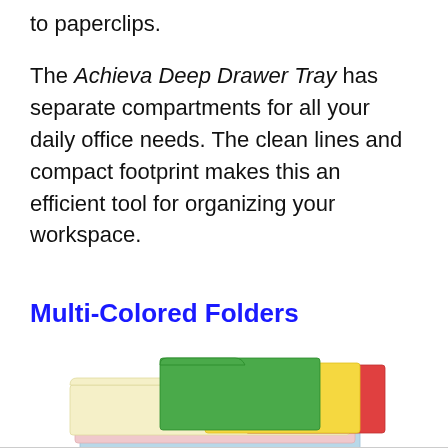to paperclips.
The Achieva Deep Drawer Tray has separate compartments for all your daily office needs. The clean lines and compact footprint makes this an efficient tool for organizing your workspace.
Multi-Colored Folders
[Figure (illustration): Stack of multi-colored file folders: green, yellow, red, cream/beige, pink, and light blue folders fanned out]